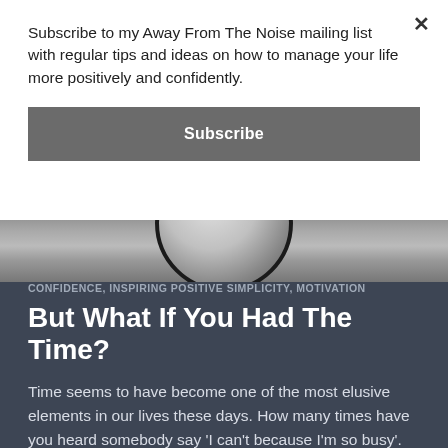Subscribe to my Away From The Noise mailing list with regular tips and ideas on how to manage your life more positively and confidently.
Subscribe
[Figure (photo): Partial view of a dark circular clock or watch face against a grey background]
CONFIDENCE, INSPIRING POSITIVE SIMPLICITY, MOTIVATION
But What If You Had The Time?
Time seems to have become one of the most elusive elements in our lives these days. How many times have you heard somebody say 'I can't because I'm so busy'. There's almost some kind of social pressure to be seen to be busy because if